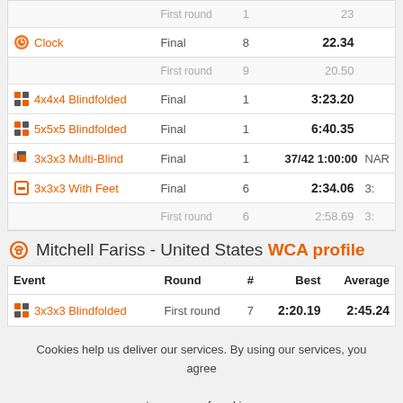| Event | Round | # | Best | Average |
| --- | --- | --- | --- | --- |
|  | First round | 1 | 23 |  |
| Clock | Final | 8 | 22.34 |  |
|  | First round | 9 | 20.50 |  |
| 4x4x4 Blindfolded | Final | 1 | 3:23.20 |  |
| 5x5x5 Blindfolded | Final | 1 | 6:40.35 |  |
| 3x3x3 Multi-Blind | Final | 1 | 37/42 1:00:00 | NAR |
| 3x3x3 With Feet | Final | 6 | 2:34.06 | 3: |
|  | First round | 6 | 2:58.69 | 3: |
Mitchell Fariss - United States WCA profile
| Event | Round | # | Best | Average |
| --- | --- | --- | --- | --- |
| 3x3x3 Blindfolded | First round | 7 | 2:20.19 | 2:45.24 |
Cookies help us deliver our services. By using our services, you agree to our use of cookies.